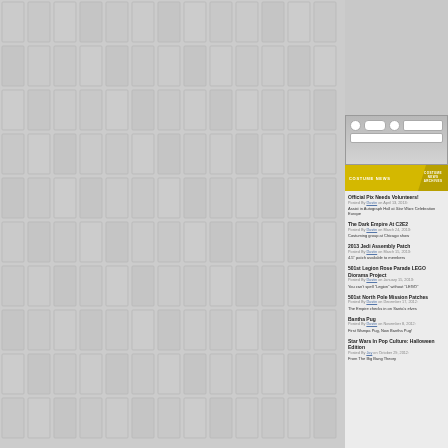[Figure (screenshot): Brick/tile pattern background on left portion of page]
[Figure (screenshot): Browser chrome toolbar at top right]
COSTUME NEWS
Official Pix Needs Volunteers!
Posted By Dustin on April 13, 2013:
Assist in Autograph Hall at Star Wars Celebration Europe
The Dark Empire At C2E2
Posted By Dustin on March 24, 2013:
Costuming group at Chicago show
2013 Jedi Assembly Patch
Posted By Dustin on March 15, 2013:
4.5" patch available to members
501st Legion Rose Parade LEGO Diorama Project
Posted By Dustin on January 15, 2013:
You can't spell "Legion" without "LEGO"
501st North Pole Mission Patches
Posted By Dustin on December 17, 2012:
The Empire checks in on Santa's elves
Bantha Pug
Posted By Dustin on November 8, 2012:
First Wampa Pug, Now Bantha Pug!
Star Wars In Pop Culture: Halloween Edition
Posted By Jay on October 29, 2012:
From The Big Bang Theory